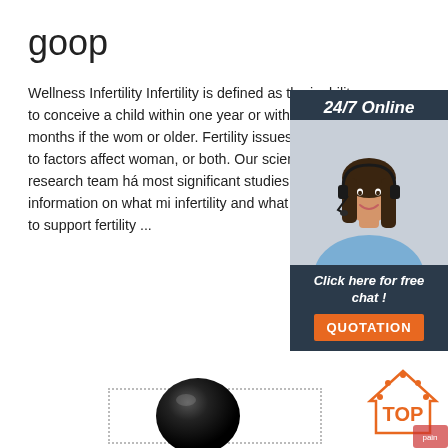goop
Wellness Infertility Infertility is defined as the inability to conceive a child within one year or within six months if the woman is 35 or older. Fertility issues can be due to factors affecting the man, woman, or both. Our science and research team has gathered the most significant studies and information on what might contribute to infertility and what we can do to support fertility ...
[Figure (other): Orange 'Get Price' button]
[Figure (other): 24/7 Online chat widget with customer service representative photo, 'Click here for free chat!' text, and orange QUOTATION button]
[Figure (other): Black sphere product image at bottom of page]
[Figure (logo): TOP logo with house icon and red shoulder pain image at bottom right]